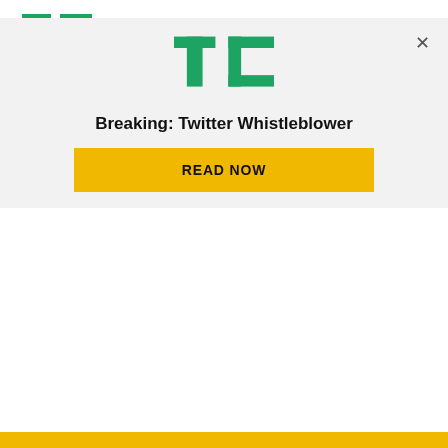TechCrunch logo and navigation menu
The Latest
Hear THX's new Deep Note right here
[Figure (logo): TechCrunch TC logo in green]
Breaking: Twitter Whistleblower
READ NOW